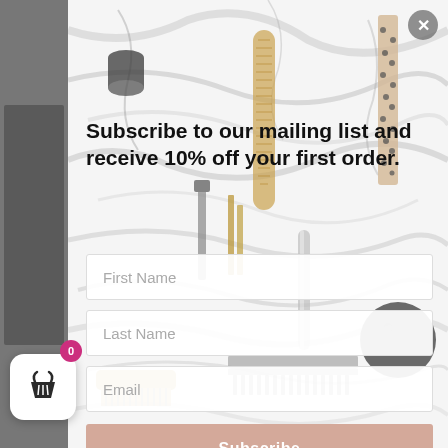[Figure (screenshot): A website popup modal with a marble/beauty products background showing a mailing list subscription form. The popup contains a headline offering 10% off first order, three input fields (First Name, Last Name, Email), and a Subscribe button. Background shows beauty tools like hair brushes on a marble surface. A shopping cart button with badge showing 0 is visible in the bottom left corner.]
Subscribe to our mailing list and receive 10% off your first order.
First Name
Last Name
Email
Subscribe